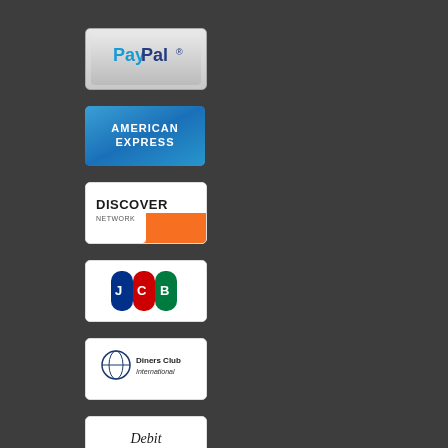[Figure (logo): PayPal payment logo - silver/grey gradient background card with PayPal blue and dark blue text]
[Figure (logo): American Express logo - blue gradient card with AMERICAN EXPRESS in white text]
[Figure (logo): Discover Network logo - white card with DISCOVER in black text and orange arc design]
[Figure (logo): JCB logo - white card with blue, red and green vertical stripe design and JCB text]
[Figure (logo): Diners Club International logo - white card with globe icon and Diners Club International text]
[Figure (logo): Debit Card logo - white card with italic Debit Card text]